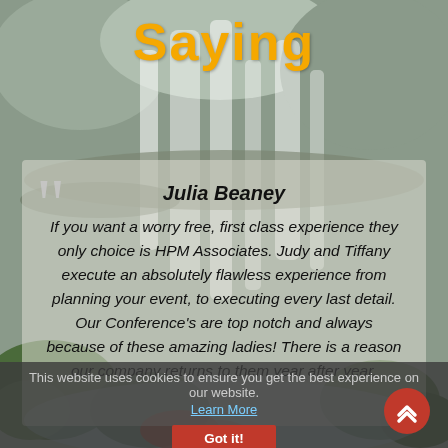Saying
[Figure (photo): Nature/waterfall background image with rocks, flowing water, and greenery]
Julia Beaney
If you want a worry free, first class experience they only choice is HPM Associates. Judy and Tiffany execute an absolutely flawless experience from planning your event, to executing every last detail. Our Conference's are top notch and always because of these amazing ladies! There is a reason our company returns to them year after year.
This website uses cookies to ensure you get the best experience on our website.
Learn More
Got it!